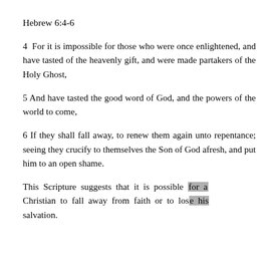Hebrew 6:4-6
4 For it is impossible for those who were once enlightened, and have tasted of the heavenly gift, and were made partakers of the Holy Ghost,
5 And have tasted the good word of God, and the powers of the world to come,
6 If they shall fall away, to renew them again unto repentance; seeing they crucify to themselves the Son of God afresh, and put him to an open shame.
This Scripture suggests that it is possible for a Christian to fall away from faith or to lose his salvation.